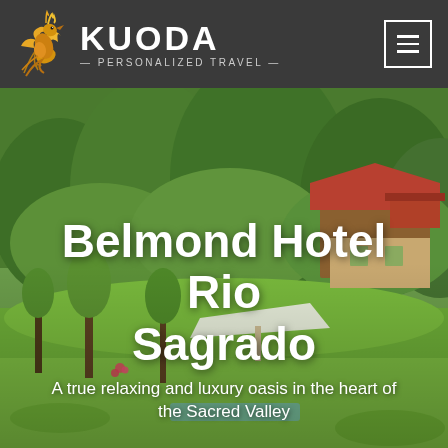[Figure (logo): Kuoda Personalized Travel logo: orange/gold phoenix bird on left, white bold text KUODA with tagline — PERSONALIZED TRAVEL — below, on dark grey header bar]
[Figure (photo): Aerial/landscape photo of a lush green garden and grounds of Belmond Hotel Rio Sagrado in Peru's Sacred Valley, with trees, manicured lawn, white sun umbrellas/canopy, and red-tile-roofed buildings visible among dense green foliage]
Belmond Hotel Rio Sagrado
A true relaxing and luxury oasis in the heart of the Sacred Valley